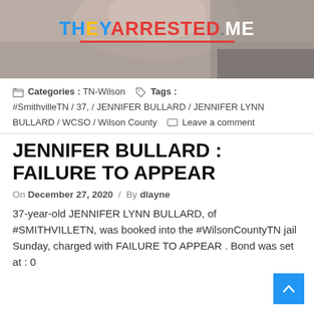[Figure (photo): Header photo showing a person's face/head partially visible, with TheyArrested.Me logo overlay. Logo text: THEY (blue/yellow) ARRESTED (red) .ME (white) with red underline.]
Categories : TN-Wilson  Tags : #SmithvilleTN / 37, / JENNIFER BULLARD / JENNIFER LYNN BULLARD / WCSO / Wilson County  Leave a comment
JENNIFER BULLARD : FAILURE TO APPEAR
On December 27, 2020 / By dlayne
37-year-old JENNIFER LYNN BULLARD, of #SMITHVILLETN, was booked into the #WilsonCountyTN jail Sunday, charged with FAILURE TO APPEAR . Bond was set at : 0